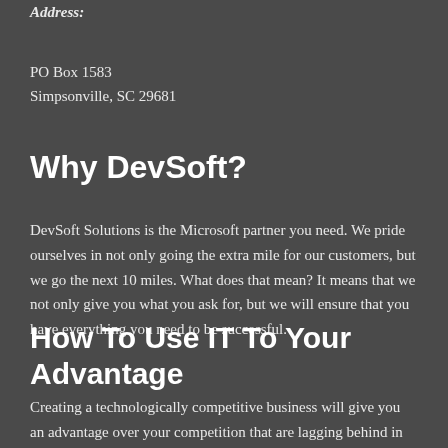Address:
PO Box 1583
Simpsonville, SC 29681
Why DevSoft?
DevSoft Solutions is the Microsoft partner you need. We pride ourselves in not only going the extra mile for our customers, but we go the next 10 miles. What does that mean? It means that we not only give you what you ask for, but we will ensure that you have everything you need to be successful.
How To Use IT To Your Advantage
Creating a technologically competitive business will give you an advantage over your competition that are lagging behind in IT.